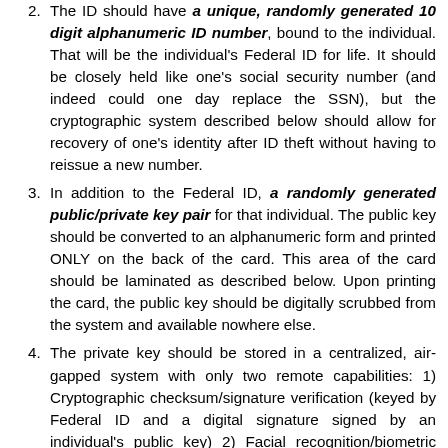2. The ID should have a unique, randomly generated 10 digit alphanumeric ID number, bound to the individual. That will be the individual's Federal ID for life. It should be closely held like one's social security number (and indeed could one day replace the SSN), but the cryptographic system described below should allow for recovery of one's identity after ID theft without having to reissue a new number.
3. In addition to the Federal ID, a randomly generated public/private key pair for that individual. The public key should be converted to an alphanumeric form and printed ONLY on the back of the card. This area of the card should be laminated as described below. Upon printing the card, the public key should be digitally scrubbed from the system and available nowhere else.
4. The private key should be stored in a centralized, air-gapped system with only two remote capabilities: 1) Cryptographic checksum/signature verification (keyed by Federal ID and a digital signature signed by an individual's public key) 2) Facial recognition/biometric search by